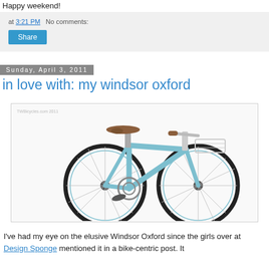Happy weekend!
at 3:21 PM   No comments:
Share
Sunday, April 3, 2011
in love with: my windsor oxford
[Figure (photo): A light blue Windsor Oxford bicycle with brown leather seat and handlebar grips, chrome accents, photographed on a white background. Small watermark text in top-left corner of image.]
I've had my eye on the elusive Windsor Oxford since the girls over at Design Sponge mentioned it in a bike-centric post. It